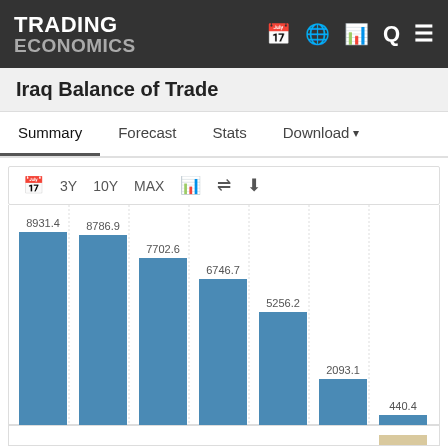TRADING ECONOMICS
Iraq Balance of Trade
Summary  Forecast  Stats  Download
[Figure (bar-chart): Iraq Balance of Trade]